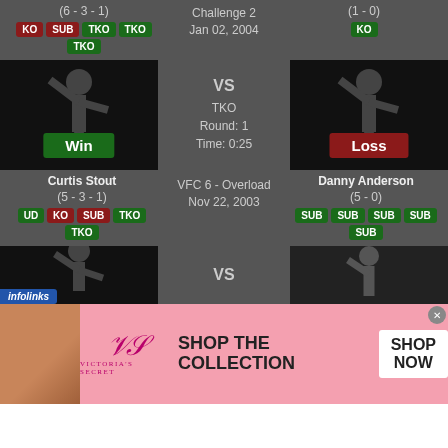(6 - 3 - 1)
KO SUB TKO TKO TKO
Challenge 2
Jan 02, 2004
(1 - 0)
KO
[Figure (illustration): Fighter silhouette with Win badge]
VS
TKO
Round: 1
Time: 0:25
[Figure (illustration): Fighter silhouette with Loss badge]
Curtis Stout
(5 - 3 - 1)
UD KO SUB TKO TKO
VFC 6 - Overload
Nov 22, 2003
Danny Anderson
(5 - 0)
SUB SUB SUB SUB SUB
[Figure (illustration): Partial fighter silhouette bottom]
VS
[Figure (illustration): Partial fighter silhouette bottom right]
[Figure (illustration): Victoria's Secret advertisement banner]